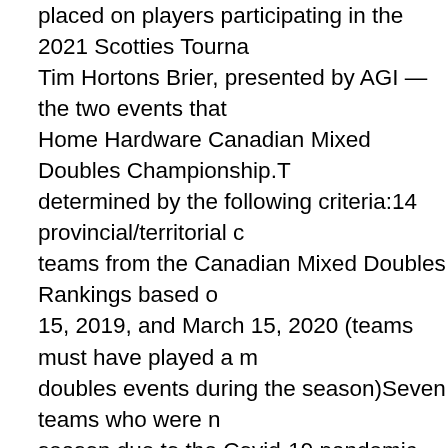placed on players participating in the 2021 Scotties Tourna Tim Hortons Brier, presented by AGI — the two events that Home Hardware Canadian Mixed Doubles Championship.T determined by the following criteria:14 provincial/territorial c teams from the Canadian Mixed Doubles Rankings based o 15, 2019, and March 15, 2020 (teams must have played a doubles events during the season)Seven teams who were season due to the Covid-19 pandemic but had committed t together. Rankings are based on each player's best three C the 2019/2020 season combined with their partners. All pla Curling Canada's National Team program.A waiting list of te established should teams that qualify not attend, or if a tear Scotties Tournament of Hearts championship team that will World Women's Championship in Switzerland, which is run the Home Hardware Canadian Mixed Doubles Championsh split into five pools of seven for round-robin play. From ther to the playoffs.The winning team will take home a $50,000 goes to the runner-up; $20,000 to third place and $10,000 t through eighth place earns $6,500 while ninth through 13th